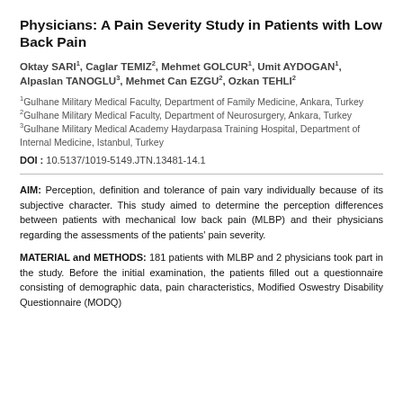Physicians: A Pain Severity Study in Patients with Low Back Pain
Oktay SARI¹, Caglar TEMIZ², Mehmet GOLCUR¹, Umit AYDOGAN¹, Alpaslan TANOGLU³, Mehmet Can EZGU², Ozkan TEHLI²
¹Gulhane Military Medical Faculty, Department of Family Medicine, Ankara, Turkey
²Gulhane Military Medical Faculty, Department of Neurosurgery, Ankara, Turkey
³Gulhane Military Medical Academy Haydarpasa Training Hospital, Department of Internal Medicine, Istanbul, Turkey
DOI: 10.5137/1019-5149.JTN.13481-14.1
AIM: Perception, definition and tolerance of pain vary individually because of its subjective character. This study aimed to determine the perception differences between patients with mechanical low back pain (MLBP) and their physicians regarding the assessments of the patients' pain severity.
MATERIAL and METHODS: 181 patients with MLBP and 2 physicians took part in the study. Before the initial examination, the patients filled out a questionnaire consisting of demographic data, pain characteristics, Modified Oswestry Disability Questionnaire (MODQ)